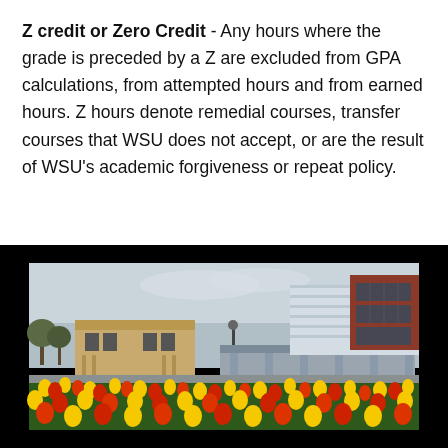Z credit or Zero Credit - Any hours where the grade is preceded by a Z are excluded from GPA calculations, from attempted hours and from earned hours. Z hours denote remedial courses, transfer courses that WSU does not accept, or are the result of WSU's academic forgiveness or repeat policy.
[Figure (photo): Campus building photo showing a modern building with brick and metal panel facade, large windows, covered walkway, an older tan brick building in the background, a lamp post, trees, and a foreground filled with blooming red and yellow tulips. Overcast sky.]